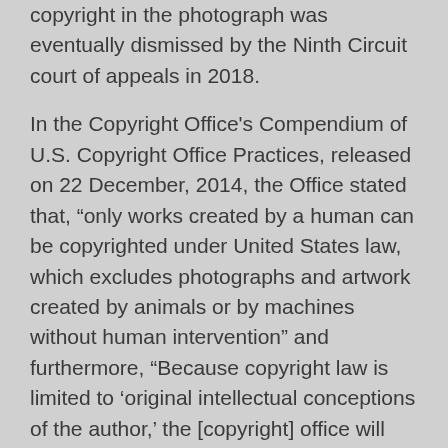copyright in the photograph was eventually dismissed by the Ninth Circuit court of appeals in 2018.
In the Copyright Office's Compendium of U.S. Copyright Office Practices, released on 22 December, 2014, the Office stated that, “only works created by a human can be copyrighted under United States law, which excludes photographs and artwork created by animals or by machines without human intervention” and furthermore, “Because copyright law is limited to ‘original intellectual conceptions of the author,’ the [copyright] office will refuse to register a claim if it determines that a human being did not create the work. The Office will not register works produced by nature, animals, or plants.” What is left open to wide interpretation is the role of human intervention. In the case of AI, so the argument goes, there is human intervention in the design of the algorithm, in the training, and in the...